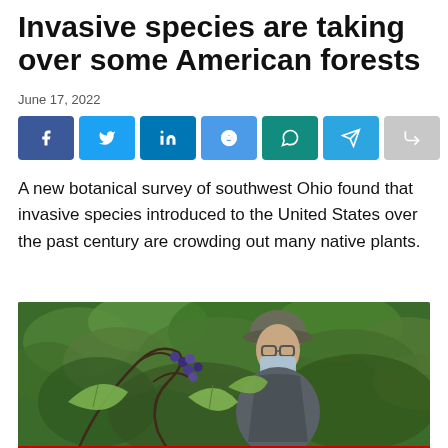Invasive species are taking over some American forests
June 17, 2022
[Figure (infographic): Social media share buttons: Facebook, Twitter, LinkedIn, Reddit, WhatsApp, Telegram, Share]
A new botanical survey of southwest Ohio found that invasive species introduced to the United States over the past century are crowding out many native plants.
[Figure (photo): A person wearing a cap, glasses, and blue face mask standing among green leafy plants and berry-laden branches in a forest setting.]